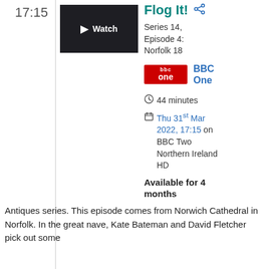17:15
[Figure (screenshot): Thumbnail image showing a person in a dark interior setting with a play button overlay and 'Watch' text]
Flog It!
Series 14, Episode 4: Norfolk 18
[Figure (logo): BBC One red logo badge]
BBC One
44 minutes
Thu 31st Mar 2022, 17:15 on BBC Two Northern Ireland HD
Available for 4 months
Antiques series. This episode comes from Norwich Cathedral in Norfolk. In the great nave, Kate Bateman and David Fletcher pick out some